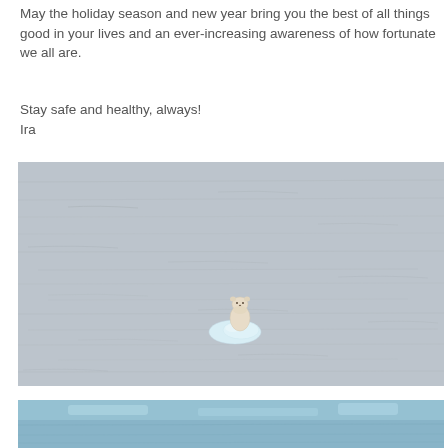May the holiday season and new year bring you the best of all things good in your lives and an ever-increasing awareness of how fortunate we all are.
Stay safe and healthy, always!
Ira
[Figure (photo): A polar bear resting on a small floating piece of ice in the middle of open grey ocean water. The bear is small relative to the vast expanse of water around it.]
[Figure (photo): Partial view of another photograph at the bottom of the page, showing blue water or ice, cropped.]